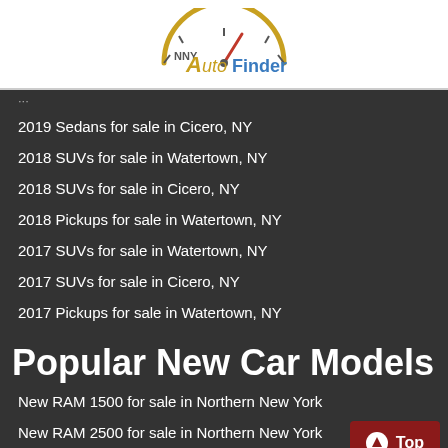[Figure (logo): NNY Auto Finder logo with speedometer graphic]
2019 Sedans for sale in Cicero, NY
2018 SUVs for sale in Watertown, NY
2018 SUVs for sale in Cicero, NY
2018 Pickups for sale in Watertown, NY
2017 SUVs for sale in Watertown, NY
2017 SUVs for sale in Cicero, NY
2017 Pickups for sale in Watertown, NY
Popular New Car Models
New RAM 1500 for sale in Northern New York
New RAM 2500 for sale in Northern New York
New Jeep Renegade for sale in Northern New York
New Jeep Compass for sale in Northern New York